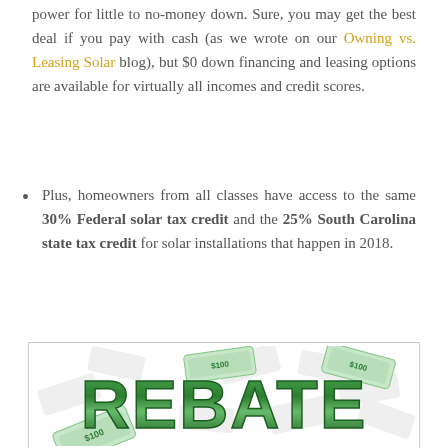power for little to no-money down. Sure, you may get the best deal if you pay with cash (as we wrote on our Owning vs. Leasing Solar blog), but $0 down financing and leasing options are available for virtually all incomes and credit scores.
Plus, homeowners from all classes have access to the same 30% Federal solar tax credit and the 25% South Carolina state tax credit for solar installations that happen in 2018.
[Figure (illustration): Promotional image showing the word REBATE in large bold green letters styled to look like dollar bills, with paper money bills flying around it on a white background.]